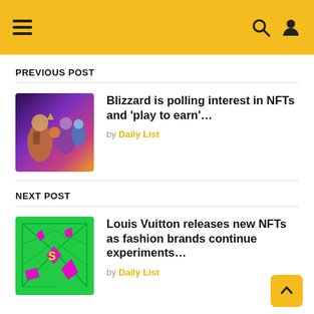Navigation header with hamburger menu, search, and user icons
PREVIOUS POST
[Figure (photo): Blizzard game characters collage with fantasy warriors and sci-fi elements]
Blizzard is polling interest in NFTs and 'play to earn'...
by Daily List
NEXT POST
[Figure (illustration): Louis Vuitton NFT green background with pink/magenta graphic design elements and grid lines]
Louis Vuitton releases new NFTs as fashion brands continue experiments...
by Daily List